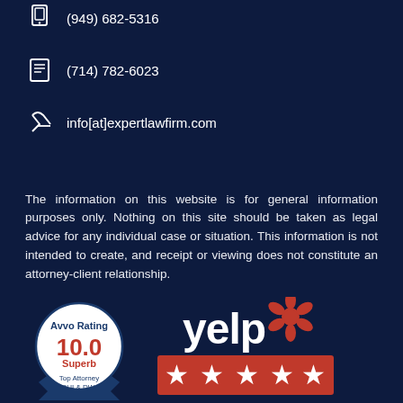(949) 682-5316
(714) 782-6023
info[at]expertlawfirm.com
The information on this website is for general information purposes only. Nothing on this site should be taken as legal advice for any individual case or situation. This information is not intended to create, and receipt or viewing does not constitute an attorney-client relationship.
[Figure (logo): Avvo Rating 10.0 Superb badge - Top Attorney DUI & DWI]
[Figure (logo): Yelp logo with 5 red stars rating badge]